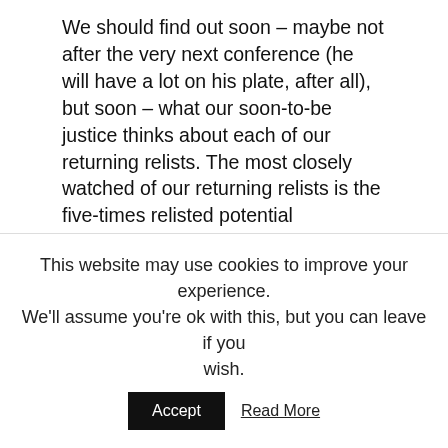We should find out soon – maybe not after the very next conference (he will have a lot on his plate, after all), but soon – what our soon-to-be justice thinks about each of our returning relists. The most closely watched of our returning relists is the five-times relisted potential blockbuster Masterpiece Cakeshop, Ltd. v. Colorado Civil Rights Commission, 16-111, involving a cake decorator who refused on religious grounds to make a cake for a same-sex wedding. If, say, a justice is working on an opinion dissenting from denial of certiorari that two of his colleagues will sign, either they will finally produce their opinion or Gorsuch will furnish the necessary fourth vote to grant. We will likewise get some idea what Gorsuch thinks of the rest of this week's returning relists, which all involve allegations of
This website may use cookies to improve your experience. We'll assume you're ok with this, but you can leave if you wish.